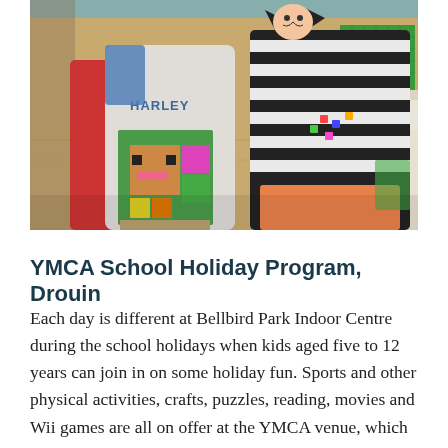[Figure (photo): Two children at a YMCA School Holiday Program, one wearing a 'HARLEY' sweatshirt holding a Minecraft-style LEGO creation, the other in a striped cat-themed outfit, on a gymnasium wooden floor with LEGO pieces on a table in the background.]
YMCA School Holiday Program, Drouin
Each day is different at Bellbird Park Indoor Centre during the school holidays when kids aged five to 12 years can join in on some holiday fun. Sports and other physical activities, crafts, puzzles, reading, movies and Wii games are all on offer at the YMCA venue, which welcomes youngsters of all abilities